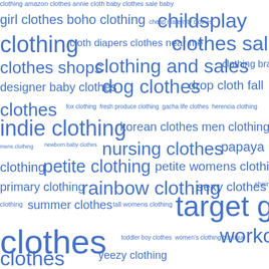[Figure (infographic): Word cloud of clothing-related search terms in various font sizes, all in blue color on white background. Terms include: clothing, amazon clothes, annie cloth, baby clothes sale, baby girl clothes, boho clothing, cheap maternity clothes, childsplay clothing, cloth diapers, clothes near me, clothes sale, clothes shops, clothing and sales, clothing brands, designer baby clothes, dog clothes, drop cloth, fall clothes, fox clothing, fresh produce clothing, gacha life clothes, herencia clothing, indie clothing, korean clothes, men clothing styles, mens clothing, newborn baby clothes, nursing clothes, papaya clothing, petite clothing, petite womens clothing, primary clothing, rainbow clothing, sexy clothes, shein clothing, summer clothes, tall womens clothing, target girls clothes, toddler boy clothes, women's clothing boutique, workout clothes, yeezy clothing]